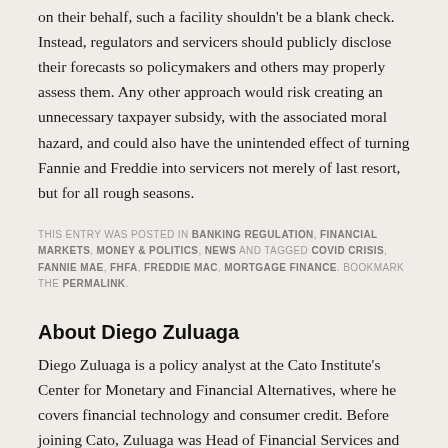on their behalf, such a facility shouldn't be a blank check. Instead, regulators and servicers should publicly disclose their forecasts so policymakers and others may properly assess them. Any other approach would risk creating an unnecessary taxpayer subsidy, with the associated moral hazard, and could also have the unintended effect of turning Fannie and Freddie into servicers not merely of last resort, but for all rough seasons.
THIS ENTRY WAS POSTED IN BANKING REGULATION, FINANCIAL MARKETS, MONEY & POLITICS, NEWS AND TAGGED COVID CRISIS, FANNIE MAE, FHFA, FREDDIE MAC, MORTGAGE FINANCE. BOOKMARK THE PERMALINK.
About Diego Zuluaga
Diego Zuluaga is a policy analyst at the Cato Institute's Center for Monetary and Financial Alternatives, where he covers financial technology and consumer credit. Before joining Cato, Zuluaga was Head of Financial Services and